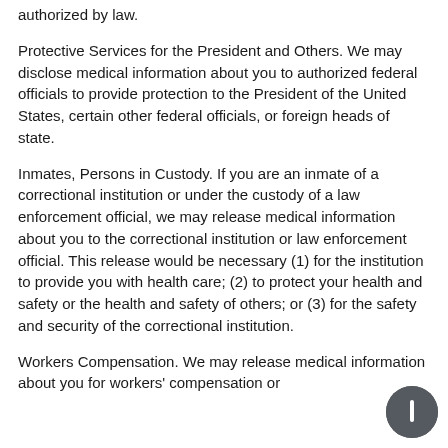authorized by law.
Protective Services for the President and Others. We may disclose medical information about you to authorized federal officials to provide protection to the President of the United States, certain other federal officials, or foreign heads of state.
Inmates, Persons in Custody. If you are an inmate of a correctional institution or under the custody of a law enforcement official, we may release medical information about you to the correctional institution or law enforcement official. This release would be necessary (1) for the institution to provide you with health care; (2) to protect your health and safety or the health and safety of others; or (3) for the safety and security of the correctional institution.
Workers Compensation. We may release medical information about you for workers' compensation or